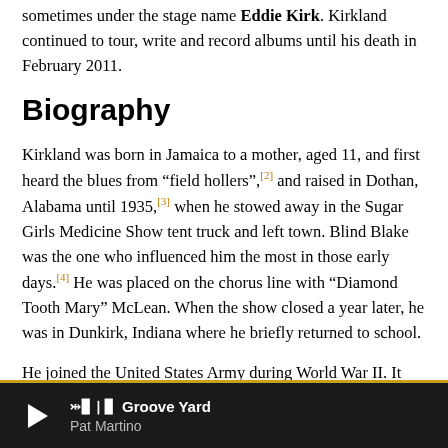sometimes under the stage name Eddie Kirk. Kirkland continued to tour, write and record albums until his death in February 2011.
Biography
Kirkland was born in Jamaica to a mother, aged 11, and first heard the blues from “field hollers”,[2] and raised in Dothan, Alabama until 1935,[3] when he stowed away in the Sugar Girls Medicine Show tent truck and left town. Blind Blake was the one who influenced him the most in those early days.[4] He was placed on the chorus line with “Diamond Tooth Mary” McLean. When the show closed a year later, he was in Dunkirk, Indiana where he briefly returned to school.
He joined the United States Army during World War II. It was racism in the military, he said, that led him to seek out the devil.[5] After his discharge Kirkland traveled to Detroit where
Groove Yard — Pat Martino